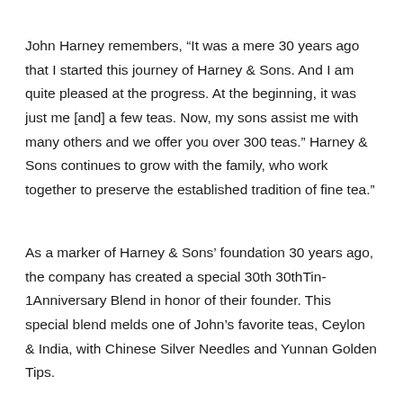John Harney remembers, “It was a mere 30 years ago that I started this journey of Harney & Sons. And I am quite pleased at the progress. At the beginning, it was just me [and] a few teas. Now, my sons assist me with many others and we offer you over 300 teas.” Harney & Sons continues to grow with the family, who work together to preserve the established tradition of fine tea.”
As a marker of Harney & Sons’ foundation 30 years ago, the company has created a special 30th 30thTin-1Anniversary Blend in honor of their founder. This special blend melds one of John’s favorite teas, Ceylon & India, with Chinese Silver Needles and Yunnan Golden Tips.